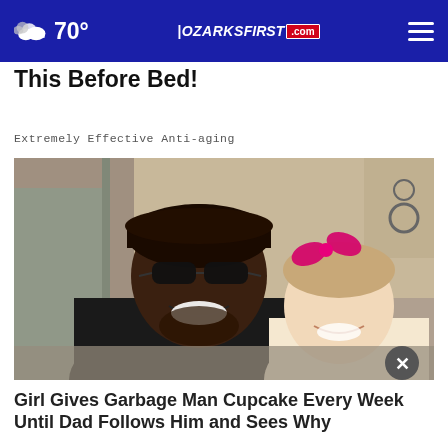70° OZARKSFIRST.com
This Before Bed!
Extremely Effective Anti-aging
[Figure (photo): A smiling man wearing sunglasses and a dark cap posing with a young girl with a pink bow in her hair. There is a close/dismiss button overlay at the bottom right.]
Girl Gives Garbage Man Cupcake Every Week Until Dad Follows Him and Sees Why